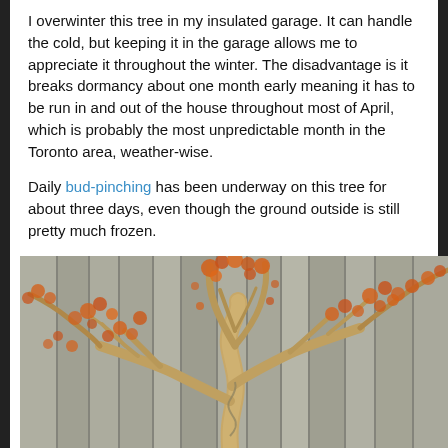I overwinter this tree in my insulated garage. It can handle the cold, but keeping it in the garage allows me to appreciate it throughout the winter. The disadvantage is it breaks dormancy about one month early meaning it has to be run in and out of the house throughout most of April, which is probably the most unpredictable month in the Toronto area, weather-wise.
Daily bud-pinching has been underway on this tree for about three days, even though the ground outside is still pretty much frozen.
[Figure (photo): A bonsai tree with sparse reddish-orange early spring buds and leaves, displayed against a weathered gray wooden plank background. The tree has a gnarled, twisted trunk with wire training visible, and branches extending wide with small clusters of orange-red new growth.]